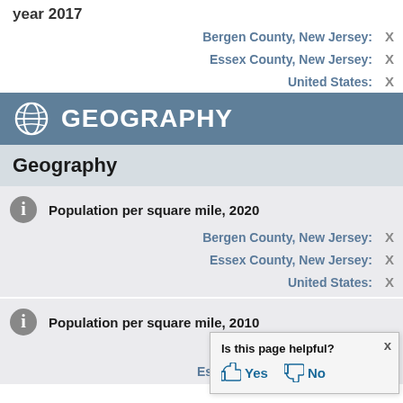year 2017
Bergen County, New Jersey: X
Essex County, New Jersey: X
United States: X
GEOGRAPHY
Geography
Population per square mile, 2020
Bergen County, New Jersey: X
Essex County, New Jersey: X
United States: X
Population per square mile, 2010
Bergen County, New Jersey: X
Essex County, New Jersey: X
Is this page helpful? Yes No